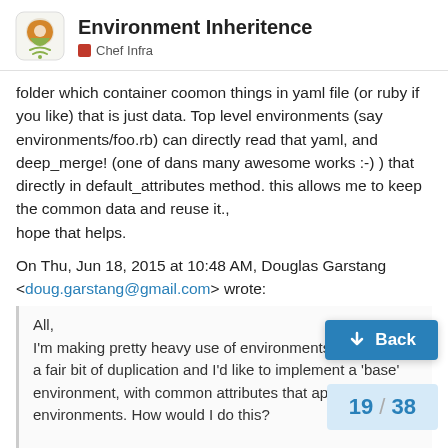Environment Inheritence — Chef Infra
folder which container coomon things in yaml file (or ruby if you like) that is just data. Top level environments (say environments/foo.rb) can directly read that yaml, and deep_merge! (one of dans many awesome works :-) ) that directly in default_attributes method. this allows me to keep the common data and reuse it.,
hope that helps.
On Thu, Jun 18, 2015 at 10:48 AM, Douglas Garstang <doug.garstang@gmail.com> wrote:
All,
I'm making pretty heavy use of environments. There's quite a fair bit of duplication and I'd like to implement a 'base' environment, with common attributes that apply to all environments. How would I do this?
What happens if the same attribute is defined in multiple environments? Are they merged toge... 'inherited' one override the 'base' one...